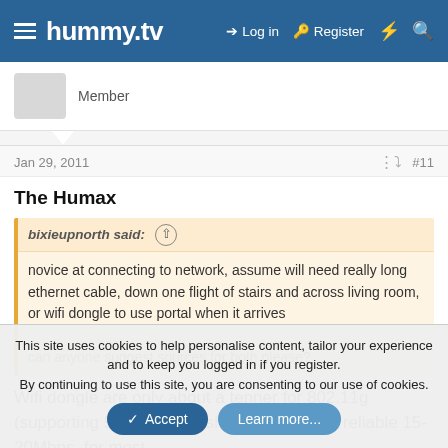hummy.tv — Log in   Register
Member
Jan 29, 2011   #11
The Humax
bixieupnorth said: ↑
novice at connecting to network, assume will need really long ethernet cable, down one flight of stairs and across living room, or wifi dongle to use portal when it arrives

can anyone suggest sources for both please?
Wifi dongle are only about a tenner for 802.11g (supporting 54Mbps) this should give you a reliable 15-20Mbps, for most
This site uses cookies to help personalise content, tailor your experience and to keep you logged in if you register.
By continuing to use this site, you are consenting to our use of cookies.